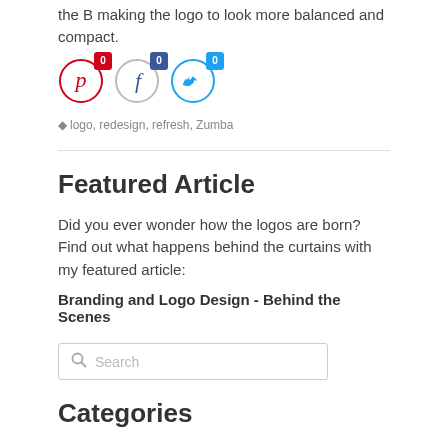the B making the logo to look more balanced and compact.
[Figure (illustration): Three social share buttons: Pinterest (red circle with P icon, badge showing 0), Facebook (gray circle with f icon, badge showing 0), Twitter (blue circle with bird icon, badge showing 0)]
logo, redesign, refresh, Zumba
Featured Article
Did you ever wonder how the logos are born? Find out what happens behind the curtains with my featured article:
Branding and Logo Design - Behind the Scenes
Search
Categories